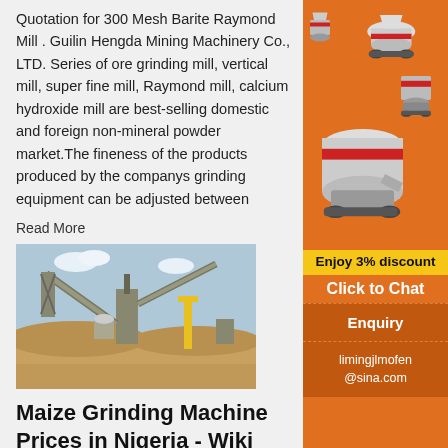Quotation for 300 Mesh Barite Raymond Mill . Guilin Hengda Mining Machinery Co., LTD. Series of ore grinding mill, vertical mill, super fine mill, Raymond mill, calcium hydroxide mill are best-selling domestic and foreign non-mineral powder market.The fineness of the products produced by the companys grinding equipment can be adjusted between
Read More
[Figure (photo): Industrial mining/milling plant site with conveyor belts, machinery, yellow crane/structure against a blue sky and sandy terrain]
Maize Grinding Machine Prices in Nigeria - Wiki
Prices of Maize Grinding Machines in Nigeria. Nigerian market is filled with several kinds of maize grinding machines. This is understandable because maize is in high demand in every part of Nigeria. ...
[Figure (illustration): Orange sidebar advertisement showing industrial mining/crushing machinery illustrations in white/grey on orange background]
Enjoy 3% discount
Click to Chat
Enquiry
limingjlmofen@sina.com